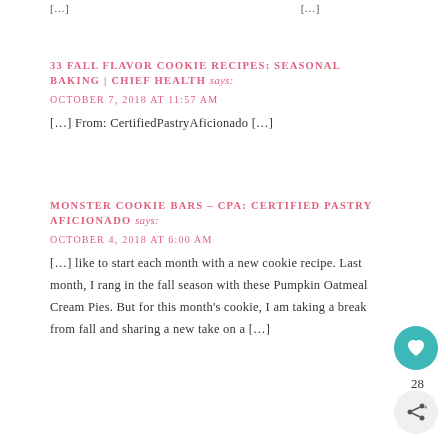[...] [...]
33 FALL FLAVOR COOKIE RECIPES: SEASONAL BAKING | CHIEF HEALTH says:
OCTOBER 7, 2018 AT 11:57 AM
[...] From: CertifiedPastryAficionado [...]
MONSTER COOKIE BARS - CPA: CERTIFIED PASTRY AFICIONADO says:
OCTOBER 4, 2018 AT 6:00 AM
[...] like to start each month with a new cookie recipe. Last month, I rang in the fall season with these Pumpkin Oatmeal Cream Pies. But for this month's cookie, I am taking a break from fall and sharing a new take on a [...]